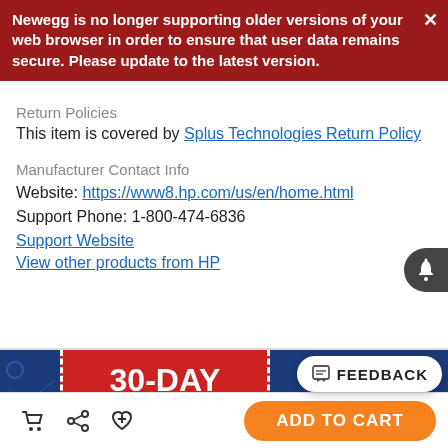Newegg is no longer supporting older versions of your web browser in order to ensure that user data remains secure. Please update to the latest version.
Return Policies
This item is covered by Splus Technologies Return Policy
Manufacturer Contact Info
Website: https://www8.hp.com/us/en/home.html
Support Phone: 1-800-474-6836
Support Website
View other products from HP
[Figure (infographic): 30-DAY LOWEST PRICE Now on Our Hottest Products promotional banner with blue background and red center section with dashed borders]
FEEDBACK
ADD TO CART